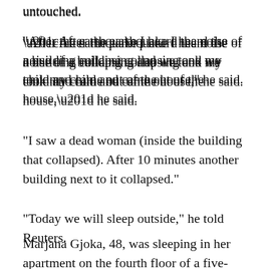untouched.
“After the earthquake I heard the noise of a building collapsing and we took my child and came out of the house,” he said.
“I saw a dead woman (inside the building that collapsed). After 10 minutes another building next to it collapsed.”
“Today we will sleep outside,” he told Reuters.
Marjana Gjoka, 48, was sleeping in her apartment on the fourth floor of a five-storey building in Thumane when the quake shattered the top floors.